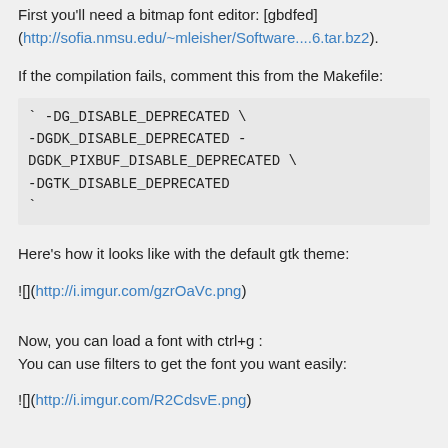First you'll need a bitmap font editor: [gbdfed] (http://sofia.nmsu.edu/~mleisher/Software....6.tar.bz2).
If the compilation fails, comment this from the Makefile:
` -DG_DISABLE_DEPRECATED \
-DGDK_DISABLE_DEPRECATED -DGDK_PIXBUF_DISABLE_DEPRECATED \
-DGTK_DISABLE_DEPRECATED
`
Here's how it looks like with the default gtk theme:
![](http://i.imgur.com/gzrOaVc.png)
Now, you can load a font with ctrl+g :
You can use filters to get the font you want easily:
![](http://i.imgur.com/R2CdsvE.png)